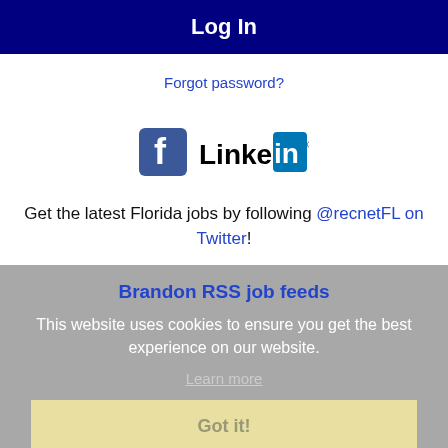Log In
Forgot password?
[Figure (logo): Facebook logo and LinkedIn logo social media icons]
Get the latest Florida jobs by following @recnetFL on Twitter!
Brandon RSS job feeds
This website uses cookies to ensure you get the best experience on our website.
Learn more
Got it!
JOB SEEKERS
Search Brandon jobs